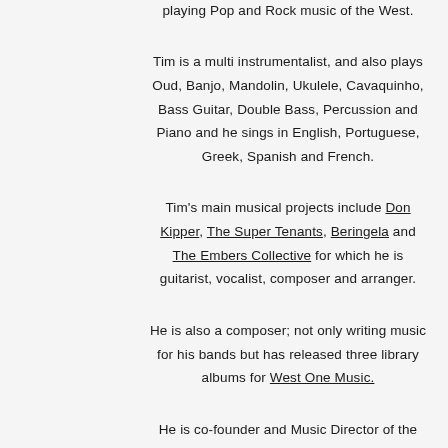playing Pop and Rock music of the West.
Tim is a multi instrumentalist, and also plays Oud, Banjo, Mandolin, Ukulele, Cavaquinho, Bass Guitar, Double Bass, Percussion and Piano and he sings in English, Portuguese, Greek, Spanish and French.
Tim's main musical projects include Don Kipper, The Super Tenants, Beringela and The Embers Collective for which he is guitarist, vocalist, composer and arranger.
He is also a composer; not only writing music for his bands but has released three library albums for West One Music.
He is co-founder and Music Director of the